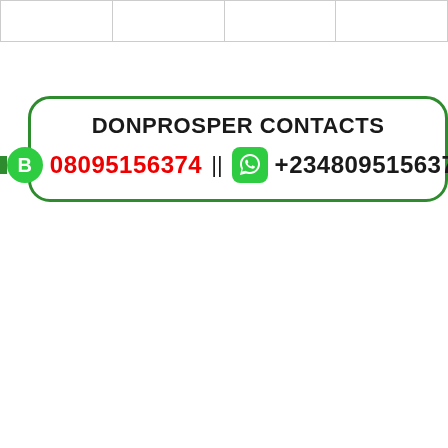|  |
DONPROSPER CONTACTS
08095156374 || +2348095156374